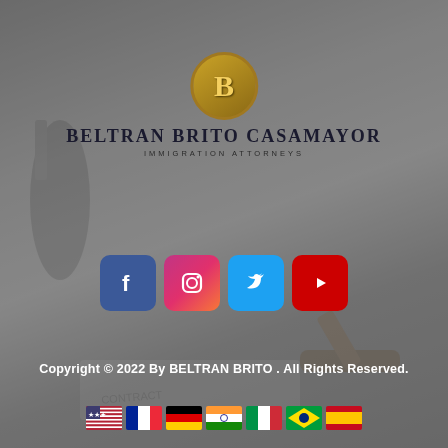[Figure (logo): Beltran Brito Casamayor Immigration Attorneys logo — gold B in a dark gold circle, firm name below in dark serif text, tagline IMMIGRATION ATTORNEYS in small caps]
[Figure (infographic): Row of four social media icon buttons: Facebook (blue), Instagram (gradient pink/orange), Twitter (light blue), YouTube (red)]
Copyright © 2022 By BELTRAN BRITO . All Rights Reserved.
[Figure (infographic): Row of seven country flag icons: USA, France, Germany, India, Italy, Brazil, Spain]